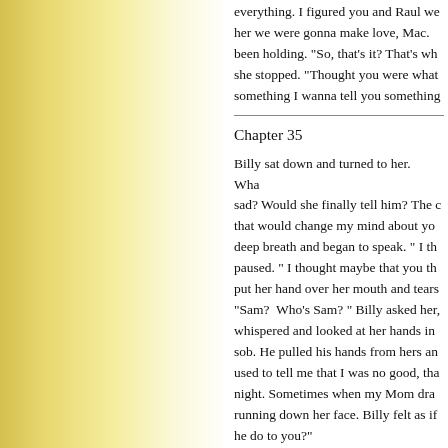everything. I figured you and Raul we... her we were gonna make love, Mac. been holding. "So, that's it? That's wh... she stopped. "Thought you were what... something I wanna tell you something...
Chapter 35
Billy sat down and turned to her.  Wha... sad? Would she finally tell him? The c... that would change my mind about you... deep breath and began to speak. " I th... paused. " I thought maybe that you th... put her hand over her mouth and tears... "Sam?  Who's Sam? " Billy asked her,... whispered and looked at her hands in ... sob. He pulled his hands from hers an... used to tell me that I was no good, tha... night. Sometimes when my Mom dra... running down her face. Billy felt as if... he do to you?"
Her voice was choked with shame an... did anything else. He said he wanted t... her silently to continue, "I knew that i... anything before that. He started to lo... ...